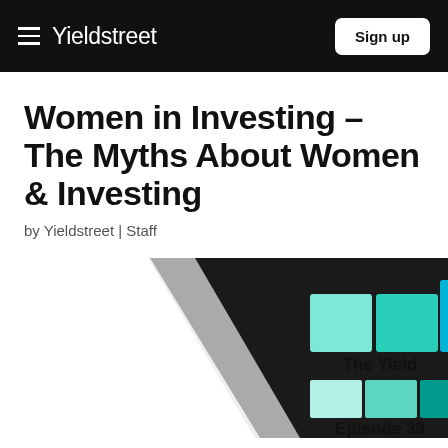Yieldstreet | Sign up
Women in Investing – The Myths About Women & Investing
by Yieldstreet | Staff
[Figure (illustration): Podcast cover art for 'The Yield' Episode 39. Dark diagonal background with three teal/cyan colored square blocks arranged in two rows, labeled 'The Yield' and 'Episode 39'.]